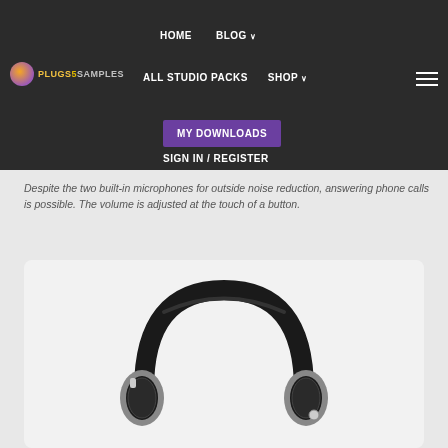[Figure (logo): Plugs and Samples logo with orange/purple gradient circle and stylized text]
HOME   BLOG   ALL STUDIO PACKS   SHOP   MY DOWNLOADS   SIGN IN / REGISTER
Despite the two built-in microphones for outside noise reduction, answering phone calls is possible. The volume is adjusted at the touch of a button.
[Figure (photo): Black over-ear headphones on a white background inside a rounded white card]